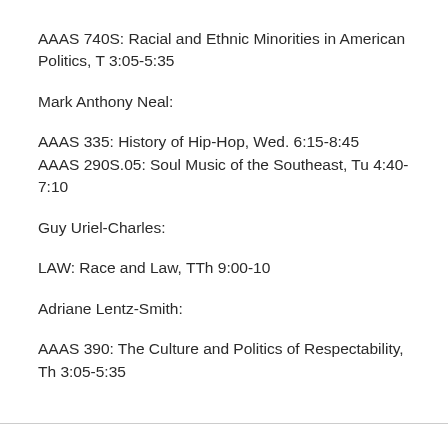AAAS 740S: Racial and Ethnic Minorities in American Politics, T 3:05-5:35
Mark Anthony Neal:
AAAS 335: History of Hip-Hop, Wed. 6:15-8:45
AAAS 290S.05: Soul Music of the Southeast, Tu 4:40-7:10
Guy Uriel-Charles:
LAW: Race and Law, TTh 9:00-10
Adriane Lentz-Smith:
AAAS 390: The Culture and Politics of Respectability, Th 3:05-5:35